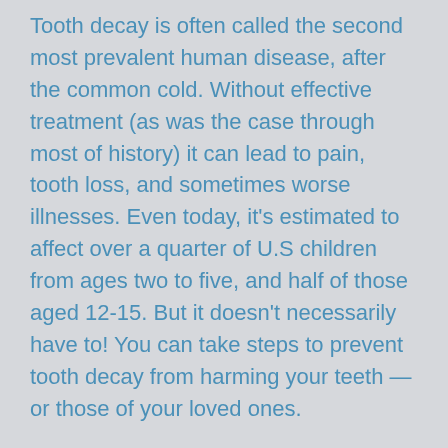Tooth decay is often called the second most prevalent human disease, after the common cold. Without effective treatment (as was the case through most of history) it can lead to pain, tooth loss, and sometimes worse illnesses. Even today, it's estimated to affect over a quarter of U.S children from ages two to five, and half of those aged 12-15. But it doesn't necessarily have to! You can take steps to prevent tooth decay from harming your teeth — or those of your loved ones.
There's one important fact you should understand up front: No single “magic bullet” can stop tooth decay in every case. Instead, fighting decay should be viewed as a process of preventive maintenance, like taking care of your car or your health will